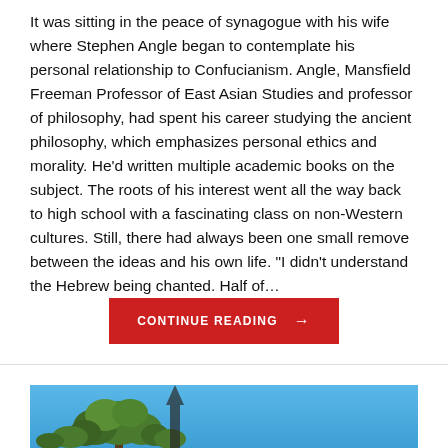It was sitting in the peace of synagogue with his wife where Stephen Angle began to contemplate his personal relationship to Confucianism. Angle, Mansfield Freeman Professor of East Asian Studies and professor of philosophy, had spent his career studying the ancient philosophy, which emphasizes personal ethics and morality. He'd written multiple academic books on the subject. The roots of his interest went all the way back to high school with a fascinating class on non-Western cultures. Still, there had always been one small remove between the ideas and his own life. "I didn't understand the Hebrew being chanted. Half of…
[Figure (photo): Partial view of a tree with green foliage against a blue sky, cropped at the bottom of the page]